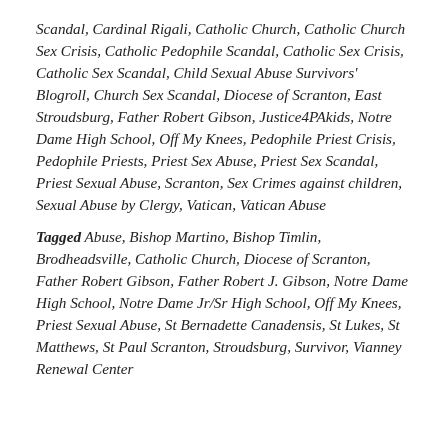Scandal, Cardinal Rigali, Catholic Church, Catholic Church Sex Crisis, Catholic Pedophile Scandal, Catholic Sex Crisis, Catholic Sex Scandal, Child Sexual Abuse Survivors' Blogroll, Church Sex Scandal, Diocese of Scranton, East Stroudsburg, Father Robert Gibson, Justice4PAkids, Notre Dame High School, Off My Knees, Pedophile Priest Crisis, Pedophile Priests, Priest Sex Abuse, Priest Sex Scandal, Priest Sexual Abuse, Scranton, Sex Crimes against children, Sexual Abuse by Clergy, Vatican, Vatican Abuse
Tagged Abuse, Bishop Martino, Bishop Timlin, Brodheadsville, Catholic Church, Diocese of Scranton, Father Robert Gibson, Father Robert J. Gibson, Notre Dame High School, Notre Dame Jr/Sr High School, Off My Knees, Priest Sexual Abuse, St Bernadette Canadensis, St Lukes, St Matthews, St Paul Scranton, Stroudsburg, Survivor, Vianney Renewal Center